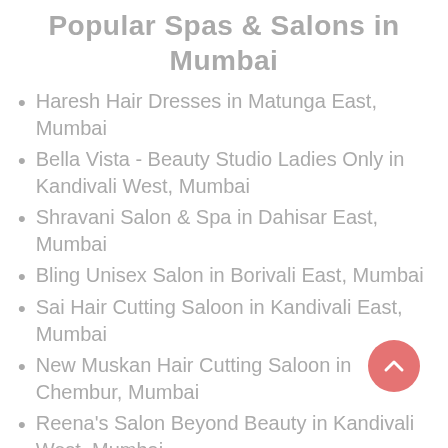Popular Spas & Salons in Mumbai
Haresh Hair Dresses in Matunga East, Mumbai
Bella Vista - Beauty Studio Ladies Only in Kandivali West, Mumbai
Shravani Salon & Spa in Dahisar East, Mumbai
Bling Unisex Salon in Borivali East, Mumbai
Sai Hair Cutting Saloon in Kandivali East, Mumbai
New Muskan Hair Cutting Saloon in Chembur, Mumbai
Reena's Salon Beyond Beauty in Kandivali West, Mumbai
Sanjana Beauty Parlour in Malad East,